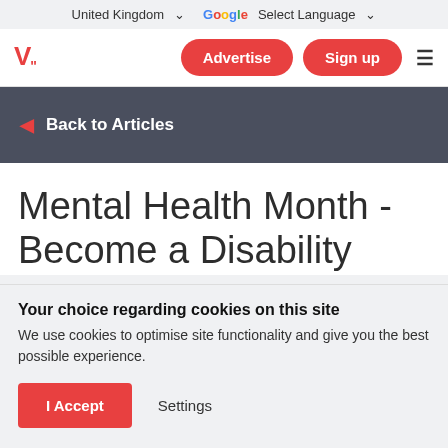United Kingdom ▾   Google Select Language ▾
Advertise | Sign up | menu
◄ Back to Articles
Mental Health Month - Become a Disability
Your choice regarding cookies on this site
We use cookies to optimise site functionality and give you the best possible experience.
I Accept   Settings